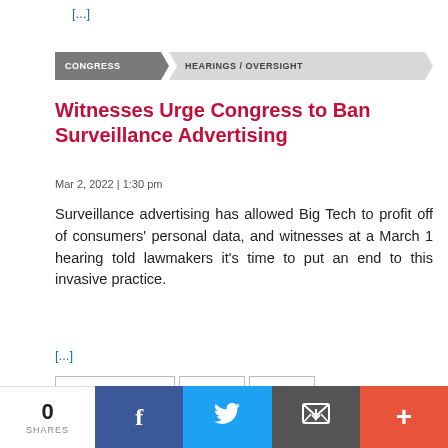[...]
CONGRESS  HEARINGS / OVERSIGHT
Witnesses Urge Congress to Ban Surveillance Advertising
Mar 2, 2022 | 1:30 pm
Surveillance advertising has allowed Big Tech to profit off of consumers' personal data, and witnesses at a March 1 hearing told lawmakers it's time to put an end to this invasive practice.
[...]
« Previous  1  2
0 SHARES